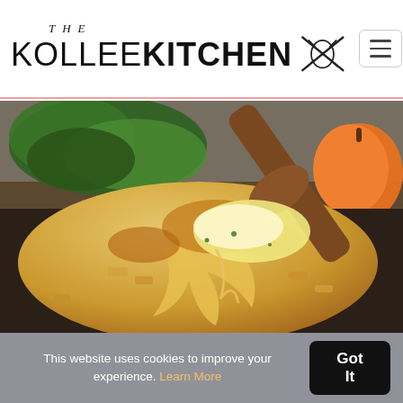THE KOLLEE KITCHEN
[Figure (photo): Close-up food photo of cheesy baked penne pasta being lifted with a wooden spoon from a cast iron skillet, with fresh parsley and a small pumpkin visible in the background]
This website uses cookies to improve your experience. Learn More
Got It